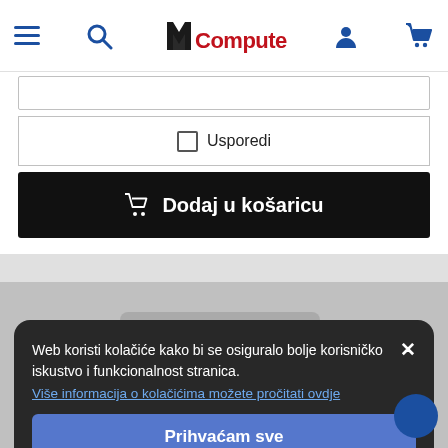[Figure (screenshot): MComputers website header with hamburger menu, search icon, logo, user icon, and cart icon]
Usporedi
Dodaj u košaricu
Web koristi kolačiće kako bi se osiguralo bolje korisničko iskustvo i funkcionalnost stranica.
Više informacija o kolačićima možete pročitati ovdje
Prihvaćam sve
Prihvaćam samo neophodno